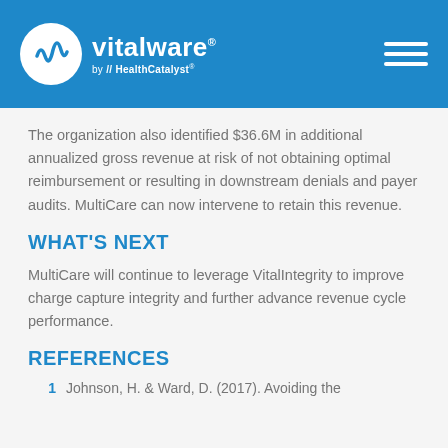vitalware by HealthCatalyst
The organization also identified $36.6M in additional annualized gross revenue at risk of not obtaining optimal reimbursement or resulting in downstream denials and payer audits. MultiCare can now intervene to retain this revenue.
WHAT'S NEXT
MultiCare will continue to leverage VitalIntegrity to improve charge capture integrity and further advance revenue cycle performance.
REFERENCES
1. Johnson, H. & Ward, D. (2017). Avoiding the